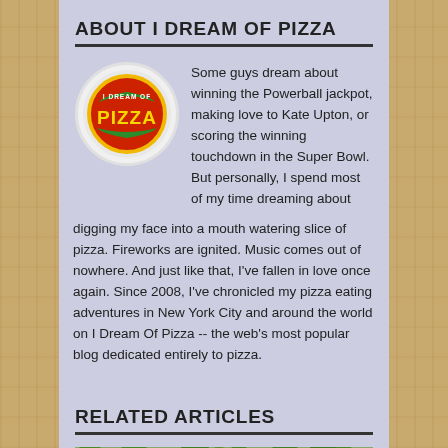ABOUT I DREAM OF PIZZA
[Figure (logo): I Dream of Pizza circular logo with red background and yellow text reading PIZZA with green ribbon banner]
Some guys dream about winning the Powerball jackpot, making love to Kate Upton, or scoring the winning touchdown in the Super Bowl. But personally, I spend most of my time dreaming about digging my face into a mouth watering slice of pizza. Fireworks are ignited. Music comes out of nowhere. And just like that, I've fallen in love once again. Since 2008, I've chronicled my pizza eating adventures in New York City and around the world on I Dream Of Pizza -- the web's most popular blog dedicated entirely to pizza.
RELATED ARTICLES
[Figure (photo): Photo of a park or outdoor area with green trees and a pathway, partially visible at bottom of page]